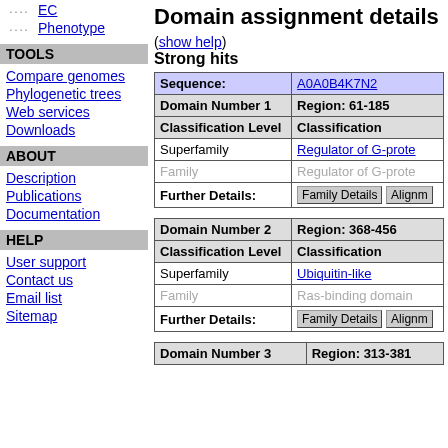EC
Phenotype
TOOLS
Compare genomes
Phylogenetic trees
Web services
Downloads
ABOUT
Description
Publications
Documentation
HELP
User support
Contact us
Email list
Sitemap
Domain assignment details
(show help)
Strong hits
| Sequence: | A0A0B4K7N2 |
| --- | --- |
| Domain Number 1 | Region: 61-185 |
| Classification Level | Classification |
| Superfamily | Regulator of G-prote... |
| Family | Regulator of G-prote... |
| Further Details: | Family Details | Alignm... |
| Domain Number 2 | Region: 368-456 |
| Classification Level | Classification |
| Superfamily | Ubiquitin-like |
| Family | Ras-binding domain... |
| Further Details: | Family Details | Alignm... |
| Domain Number 3 | Region: 313-381 |